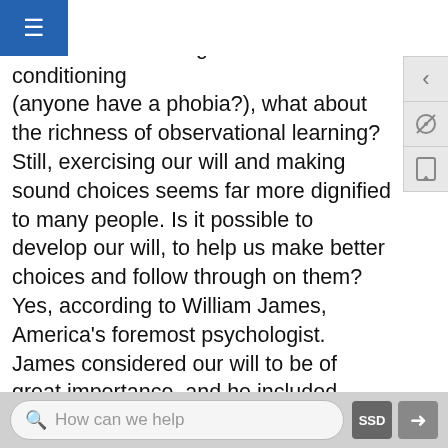ment (i.e., operant conditioning) of the associations formed during classical conditioning (anyone have a phobia?), what about the richness of observational learning? Still, exercising our will and making sound choices seems far more dignified to many people. Is it possible to develop our will, to help us make better choices and follow through on them? Yes, according to William James, America's foremost psychologist. James considered our will to be of great importance, and he included chapters on the will in two classic books: Psychology: Briefer Course, published in 1892 and Talks to Teachers on Psychology and to Students on Some of Life's Ideals, which was published in 1899. James not only thought about the importance of the will, he recommended exercising it. In Talks to Teachers he sets forth the
How can we help